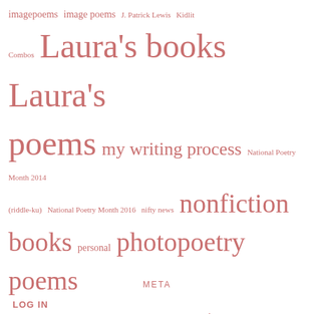imagepoems image poems J. Patrick Lewis Kidlit Combos Laura's books Laura's poems my writing process National Poetry Month 2014 (riddle-ku) National Poetry Month 2016 nifty news nonfiction books personal photopoetry poems poemsketch Poetry 7 poetryactions poetry books Poetry Friday Poetry Princesses poetry prompts poetry sisters Putrid rhyming nonfiction rhyming poems Riddle-ku school visits snowman-cold student poems teen/adult poems the business side videos Water Can Be...
META
LOG IN